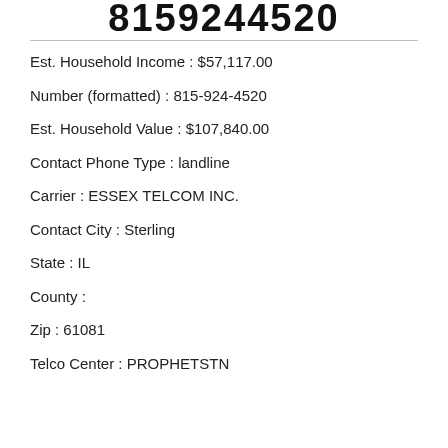8159244520
Est. Household Income:  $57,117.00
Number (formatted):  815-924-4520
Est. Household Value:  $107,840.00
Contact Phone Type:  landline
Carrier:  ESSEX TELCOM INC.
Contact City:  Sterling
State:  IL
County:
Zip:  61081
Telco Center:  PROPHETSTN